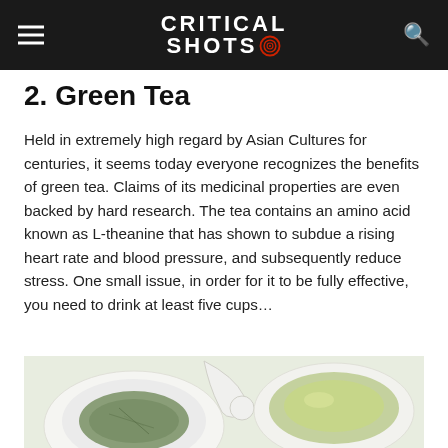CRITICAL SHOTS
2. Green Tea
Held in extremely high regard by Asian Cultures for centuries, it seems today everyone recognizes the benefits of green tea. Claims of its medicinal properties are even backed by hard research. The tea contains an amino acid known as L-theanine that has shown to subdue a rising heart rate and blood pressure, and subsequently reduce stress. One small issue, in order for it to be fully effective, you need to drink at least five cups…
[Figure (photo): Photo of green tea leaves in a white bowl and a cup of green tea liquid, viewed from above on a light background]